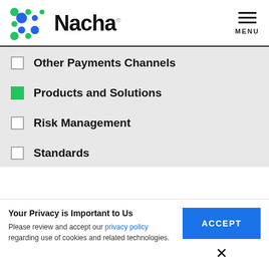[Figure (logo): Nacha logo with colorful dot grid pattern on left and 'Nacha' text in bold black]
Other Payments Channels (unchecked checkbox)
Products and Solutions (checked/green checkbox)
Risk Management (unchecked checkbox)
Standards (unchecked checkbox)
Training (unchecked checkbox, partially visible)
Your Privacy is Important to Us
Please review and accept our privacy policy regarding use of cookies and related technologies.
ACCEPT
×